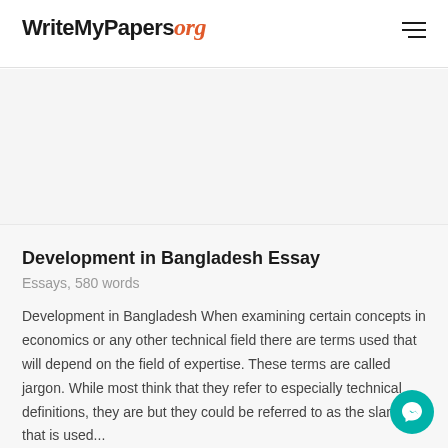WriteMyPapers org
[Figure (other): Gray banner/advertisement area below the header]
Development in Bangladesh Essay
Essays, 580 words
Development in Bangladesh When examining certain concepts in economics or any other technical field there are terms used that will depend on the field of expertise. These terms are called jargon. While most think that they refer to especially technical definitions, they are but they could be referred to as the slang that is used...